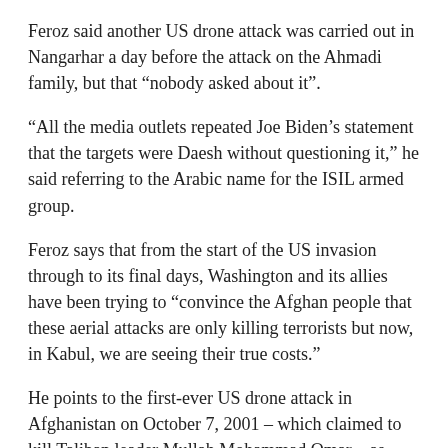Feroz said another US drone attack was carried out in Nangarhar a day before the attack on the Ahmadi family, but that “nobody asked about it”.
“All the media outlets repeated Joe Biden’s statement that the targets were Daesh without questioning it,” he said referring to the Arabic name for the ISIL armed group.
Feroz says that from the start of the US invasion through to its final days, Washington and its allies have been trying to “convince the Afghan people that these aerial attacks are only killing terrorists but now, in Kabul, we are seeing their true costs.”
He points to the first-ever US drone attack in Afghanistan on October 7, 2001 – which claimed to kill Taliban leader Mullah Mohammad Omar – as proof of the deadly cost of these tactics.
“To this day we don’t know who was actually killed, and we may never know.”